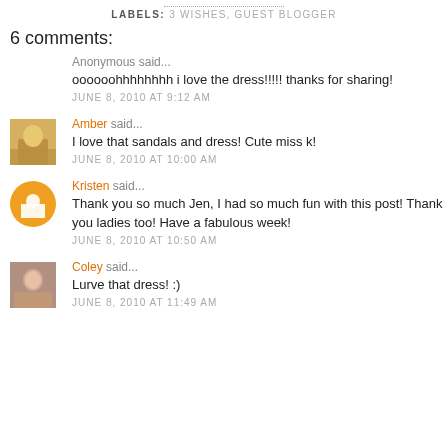LABELS: 3 WISHES, GUEST BLOGGER
6 comments:
Anonymous said...
oooooohhhhhhhh i love the dress!!!!! thanks for sharing!
JUNE 8, 2010 AT 9:12 AM
Amber said...
I love that sandals and dress! Cute miss k!
JUNE 8, 2010 AT 10:00 AM
Kristen said...
Thank you so much Jen, I had so much fun with this post! Thank you ladies too! Have a fabulous week!
JUNE 8, 2010 AT 10:50 AM
Coley said...
Lurve that dress! :)
JUNE 8, 2010 AT 11:49 AM